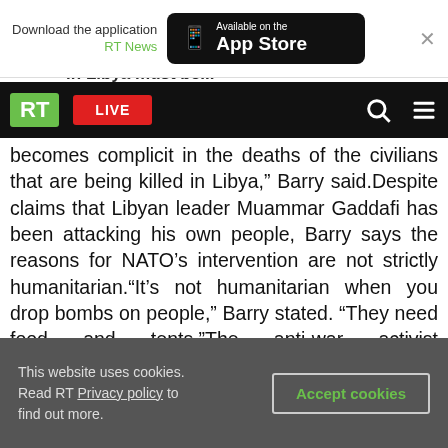[Figure (screenshot): App download banner: 'Download the application RT News' with App Store button]
[Figure (screenshot): RT News navigation bar with green RT logo, red LIVE button, search and menu icons]
becomes complicit in the deaths of the civilians that are being killed in Libya,” Barry said.Despite claims that Libyan leader Muammar Gaddafi has been attacking his own people, Barry says the reasons for NATO’s intervention are not strictly humanitarian.“It’s not humanitarian when you drop bombs on people,” Barry stated. “They need food and tents.”The anti-war activist acknowledged, however, that the Libyan leader is highly dangerous.“Gaddafi is certainly dangerous, and I feel that he doesn’t really have his people’s
This website uses cookies. Read RT Privacy policy to find out more.
Accept cookies